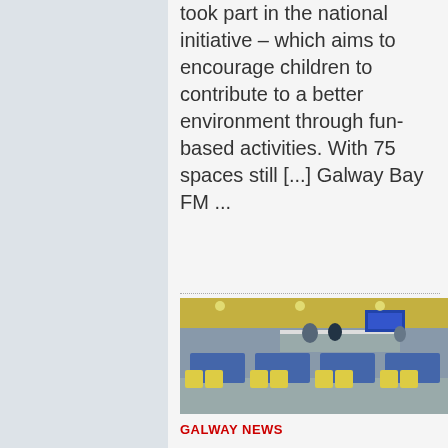took part in the national initiative – which aims to encourage children to contribute to a better environment through fun-based activities. With 75 spaces still [...] Galway Bay FM ...
[Figure (photo): Interior of a cafe or canteen with blue tables and yellow chairs, taken from above at an angle. People visible in the background near a counter area.]
GALWAY NEWS